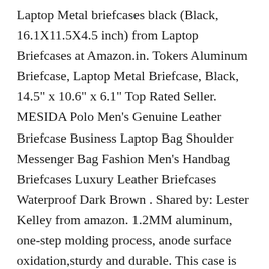Laptop Metal briefcases black (Black, 16.1X11.5X4.5 inch) from Laptop Briefcases at Amazon.in. Tokers Aluminum Briefcase, Laptop Metal Briefcase, Black, 14.5" x 10.6" x 6.1" Top Rated Seller. MESIDA Polo Men's Genuine Leather Briefcase Business Laptop Bag Shoulder Messenger Bag Fashion Men's Handbag Briefcases Luxury Leather Briefcases Waterproof Dark Brown . Shared by: Lester Kelley from amazon. 1.2MM aluminum, one-step molding process, anode surface oxidation,sturdy and durable. This case is the perfect size for what I needed. The locking mechanism needs to be recalled. Read honest and unbiased product reviews from our users. The only negative is that it did not come with a key for the locks and I can't find any information on how to